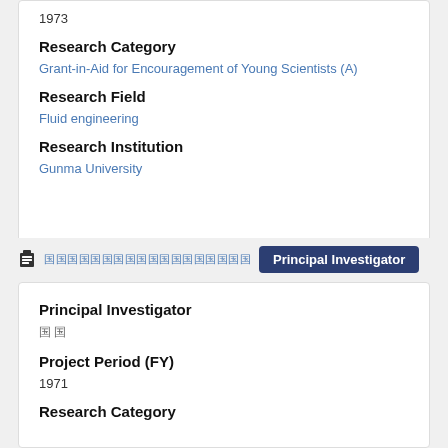1973
Research Category
Grant-in-Aid for Encouragement of Young Scientists (A)
Research Field
Fluid engineering
Research Institution
Gunma University
Principal Investigator
Principal Investigator
国 国
Project Period (FY)
1971
Research Category